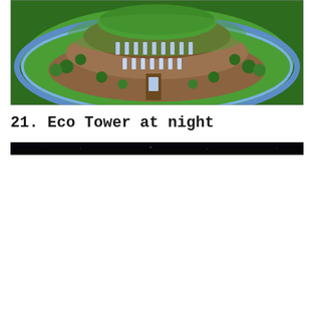[Figure (screenshot): Aerial/isometric view of a large Minecraft castle or eco tower build surrounded by green grass, with multiple tiers, large glass windows, trees, and a moat-like water feature around the base. Brown stone and brick structure with green rooftops.]
21. Eco Tower at night
[Figure (screenshot): Dark night-time screenshot of the Eco Tower Minecraft build, showing only a thin sliver at the top of the image with a mostly black/dark scene and faint lights or stars visible.]